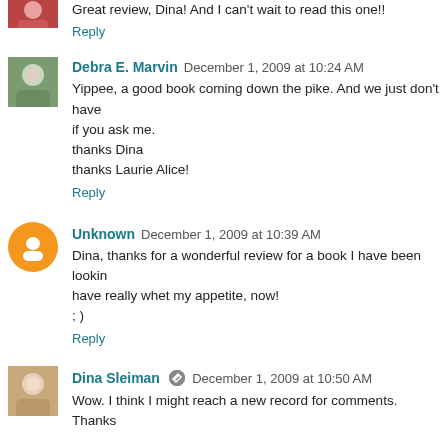Great review, Dina! And I can't wait to read this one!!
Reply
Debra E. Marvin  December 1, 2009 at 10:24 AM
Yippee, a good book coming down the pike. And we just don't have if you ask me.
thanks Dina
thanks Laurie Alice!
Reply
Unknown  December 1, 2009 at 10:39 AM
Dina, thanks for a wonderful review for a book I have been lookin have really whet my appetite, now!
; )
Reply
Dina Sleiman  December 1, 2009 at 10:50 AM
Wow. I think I might reach a new record for comments. Thanks